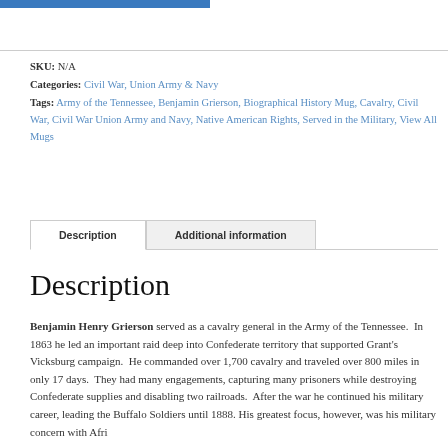SKU: N/A
Categories: Civil War, Union Army & Navy
Tags: Army of the Tennessee, Benjamin Grierson, Biographical History Mug, Cavalry, Civil War, Civil War Union Army and Navy, Native American Rights, Served in the Military, View All Mugs
Description
Additional information
Description
Benjamin Henry Grierson served as a cavalry general in the Army of the Tennessee. In 1863 he led an important raid deep into Confederate territory that supported Grant's Vicksburg campaign. He commanded over 1,700 cavalry and traveled over 800 miles in only 17 days. They had many engagements, capturing many prisoners while destroying Confederate supplies and disabling two railroads. After the war he continued his military career, leading the Buffalo Soldiers until 1888. His greatest focus, however, was his military concern with African